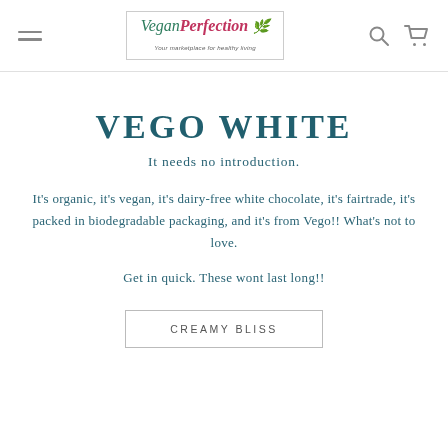Vegan Perfection — Your marketplace for healthy living
VEGO WHITE
It needs no introduction.
It's organic, it's vegan, it's dairy-free white chocolate, it's fairtrade, it's packed in biodegradable packaging, and it's from Vego!! What's not to love.
Get in quick. These wont last long!!
CREAMY BLISS